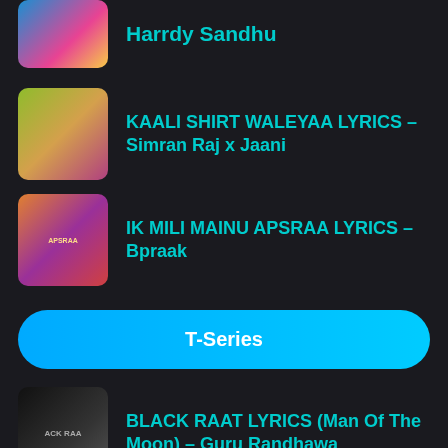Harrdy Sandhu
KAALI SHIRT WALEYAA LYRICS – Simran Raj x Jaani
IK MILI MAINU APSRAA LYRICS – Bpraak
T-Series
BLACK RAAT LYRICS (Man Of The Moon) – Guru Randhawa
MOON RISE LYRICS (Man Of The